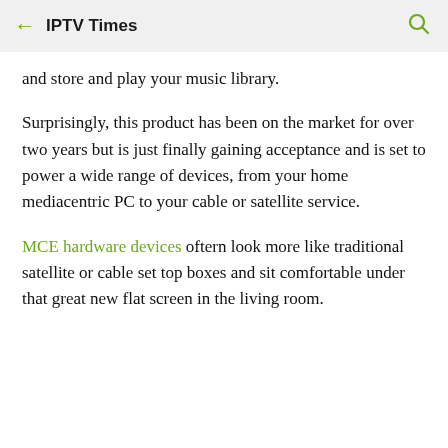← IPTV Times 🔍
and store and play your music library.
Surprisingly, this product has been on the market for over two years but is just finally gaining acceptance and is set to power a wide range of devices, from your home mediacentric PC to your cable or satellite service.
MCE hardware devices oftern look more like traditional satellite or cable set top boxes and sit comfortable under that great new flat screen in the living room.